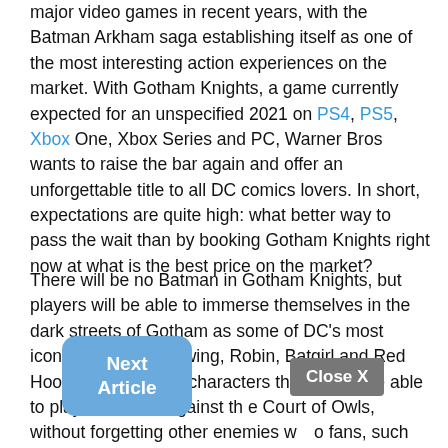major video games in recent years, with the Batman Arkham saga establishing itself as one of the most interesting action experiences on the market. With Gotham Knights, a game currently expected for an unspecified 2021 on PS4, PS5, Xbox One, Xbox Series and PC, Warner Bros wants to raise the bar again and offer an unforgettable title to all DC comics lovers. In short, expectations are quite high: what better way to pass the wait than by booking Gotham Knights right now at what is the best price on the market?
There will be no Batman in Gotham Knights, but players will be able to immerse themselves in the dark streets of Gotham as some of DC's most iconic heroes. Nightwing, Robin, Batgirl and Red Hood: these are the characters that we will be able to play in the war against the Court of Owls, without forgetting other enemies well known to fans, such as the fearsome Mr. So there seems to be a lot of meat in the fire.